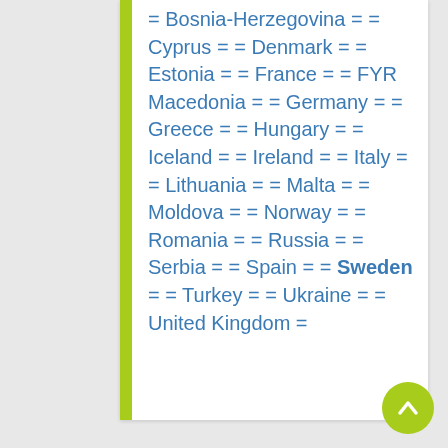= Bosnia-Herzegovina = = Cyprus = = Denmark = = Estonia = = France = = FYR Macedonia = = Germany = = Greece = = Hungary = = Iceland = = Ireland = = Italy = = Lithuania = = Malta = = Moldova = = Norway = = Romania = = Russia = = Serbia = = Spain = = Sweden = = Turkey = = Ukraine = = United Kingdom =